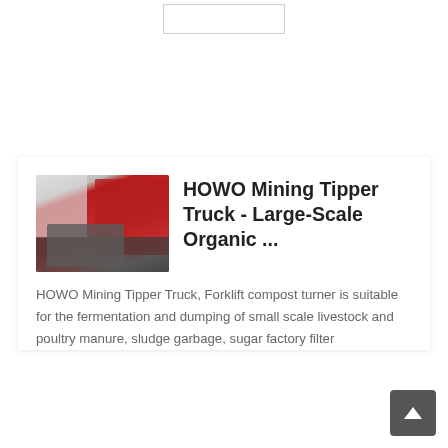[Figure (other): Placeholder box at top center of page, small rectangular outline]
[Figure (photo): Photo of HOWO Mining Tipper Truck with red cargo body, parked in front of a building]
HOWO Mining Tipper Truck - Large-Scale Organic ...
HOWO Mining Tipper Truck, Forklift compost turner is suitable for the fermentation and dumping of small scale livestock and poultry manure, sludge garbage, sugar factory filter